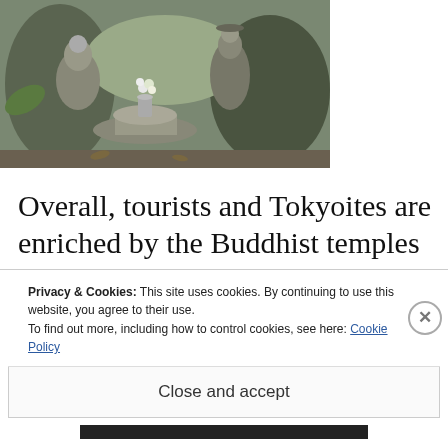[Figure (photo): Photograph of stone Buddhist statues and a small vase with white flowers at what appears to be a Japanese temple or shrine setting]
Overall, tourists and Tokyoites are enriched by the Buddhist temples and Shinto shrines that dot the landscape of Tokyo. Thus these countless hidden gems open-up other angles to
Privacy & Cookies: This site uses cookies. By continuing to use this website, you agree to their use.
To find out more, including how to control cookies, see here: Cookie Policy
Close and accept